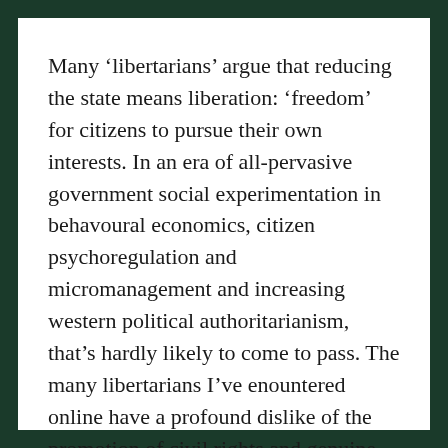Many ‘libertarians’ argue that reducing the state means liberation: ‘freedom’ for citizens to pursue their own interests. In an era of all-pervasive government social experimentation in behavoural economics, citizen psychoregulation and micromanagement and increasing western political authoritarianism, that’s hardly likely to come to pass. The many libertarians I’ve enountered online have a profound dislike of the promotion of civil rights and genuine citizen freedoms. That’s just for ‘snowflakes’, apparently.